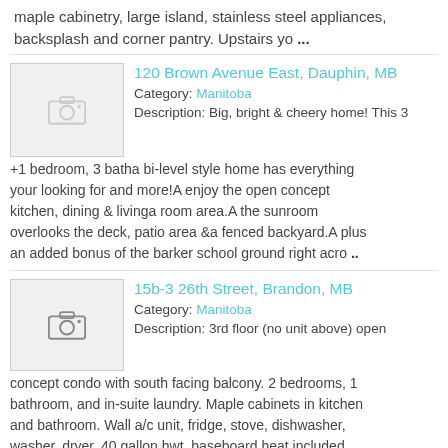maple cabinetry, large island, stainless steel appliances, backsplash and corner pantry. Upstairs yo ...
120 Brown Avenue East, Dauphin, MB — Category: Manitoba — Description: Big, bright & cheery home! This 3 +1 bedroom, 3 batha bi-level style home has everything your looking for and more!A enjoy the open concept kitchen, dining & livinga room area.A the sunroom overlooks the deck, patio area &a fenced backyard.A plus an added bonus of the barker school ground right acro ..
15b-3 26th Street, Brandon, MB — Category: Manitoba — Description: 3rd floor (no unit above) open concept condo with south facing balcony. 2 bedrooms, 1 bathroom, and in-suite laundry. Maple cabinets in kitchen and bathroom. Wall a/c unit, fridge, stove, dishwasher, washer, dryer, 40 gallon hwt, baseboard heat included. Elevator and security entry system. Water and ...
63 Euclid Avenue, Winnipeg, MB